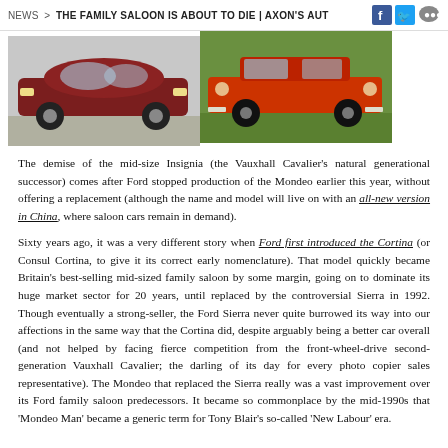NEWS > THE FAMILY SALOON IS ABOUT TO DIE | AXON'S AUT
[Figure (photo): Two car photos side by side: left shows a dark red/maroon modern saloon car, right shows a red classic Ford Cortina saloon car on grass]
The demise of the mid-size Insignia (the Vauxhall Cavalier's natural generational successor) comes after Ford stopped production of the Mondeo earlier this year, without offering a replacement (although the name and model will live on with an all-new version in China, where saloon cars remain in demand).
Sixty years ago, it was a very different story when Ford first introduced the Cortina (or Consul Cortina, to give it its correct early nomenclature). That model quickly became Britain's best-selling mid-sized family saloon by some margin, going on to dominate its huge market sector for 20 years, until replaced by the controversial Sierra in 1992. Though eventually a strong-seller, the Ford Sierra never quite burrowed its way into our affections in the same way that the Cortina did, despite arguably being a better car overall (and not helped by facing fierce competition from the front-wheel-drive second-generation Vauxhall Cavalier; the darling of its day for every photo copier sales representative). The Mondeo that replaced the Sierra really was a vast improvement over its Ford family saloon predecessors. It became so commonplace by the mid-1990s that 'Mondeo Man' became a generic term for Tony Blair's so-called 'New Labour' era.